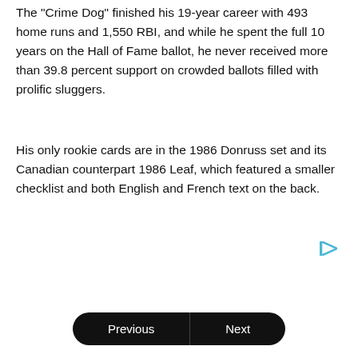The "Crime Dog" finished his 19-year career with 493 home runs and 1,550 RBI, and while he spent the full 10 years on the Hall of Fame ballot, he never received more than 39.8 percent support on crowded ballots filled with prolific sluggers.
His only rookie cards are in the 1986 Donruss set and its Canadian counterpart 1986 Leaf, which featured a smaller checklist and both English and French text on the back.
[Figure (other): Small cyan/teal play button icon (ad indicator)]